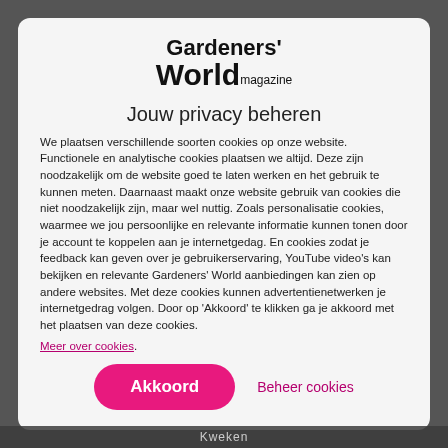[Figure (logo): Gardeners' World magazine logo in bold black text]
Jouw privacy beheren
We plaatsen verschillende soorten cookies op onze website. Functionele en analytische cookies plaatsen we altijd. Deze zijn noodzakelijk om de website goed te laten werken en het gebruik te kunnen meten. Daarnaast maakt onze website gebruik van cookies die niet noodzakelijk zijn, maar wel nuttig. Zoals personalisatie cookies, waarmee we jou persoonlijke en relevante informatie kunnen tonen door je account te koppelen aan je internetgedag. En cookies zodat je feedback kan geven over je gebruikerservaring, YouTube video's kan bekijken en relevante Gardeners' World aanbiedingen kan zien op andere websites. Met deze cookies kunnen advertentienetwerken je internetgedrag volgen. Door op 'Akkoord' te klikken ga je akkoord met het plaatsen van deze cookies.
Meer over cookies.
Akkoord | Beheer cookies